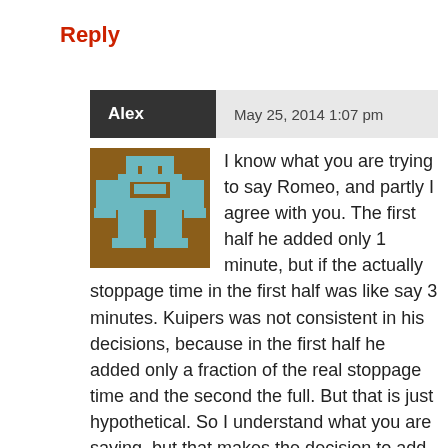Reply
Alex   May 25, 2014 1:07 pm
[Figure (illustration): Pixel art avatar of a character in brown and teal colors]
I know what you are trying to say Romeo, and partly I agree with you. The first half he added only 1 minute, but if the actually stoppage time in the first half was like say 3 minutes. Kuipers was not consistent in his decisions, because in the first half he added only a fraction of the real stoppage time and the second the full. But that is just hypothetical. So I understand what you are saying, but that makes the decision to add 5 minutes (what it actually really was) in the second half